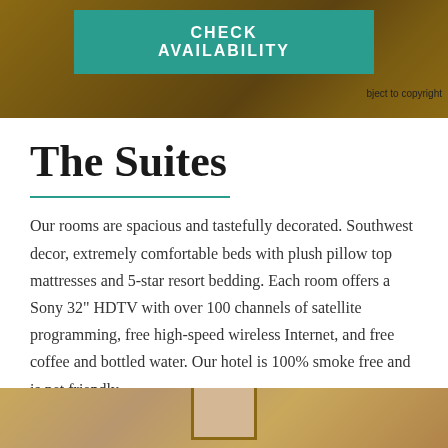[Figure (photo): Top portion of page showing a wooden surface background with a teal 'CHECK AVAILABILITY' button overlay]
bject to copyright
The Suites
Our rooms are spacious and tastefully decorated. Southwest decor, extremely comfortable beds with plush pillow top mattresses and 5-star resort bedding. Each room offers a Sony 32" HDTV with over 100 channels of satellite programming, free high-speed wireless Internet, and free coffee and bottled water. Our hotel is 100% smoke free and is pet friendly.
[Figure (other): Brown/rust colored button reading VIEW ROOMS & RATES]
[Figure (photo): Bottom portion showing hotel room interior with warm beige/tan walls and a framed picture]